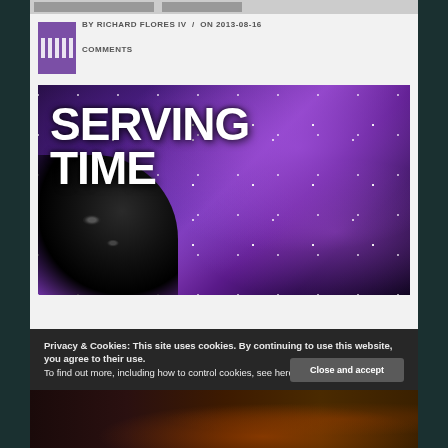BY RICHARD FLORES IV / ON 2013-08-16 COMMENTS
[Figure (illustration): Book cover for 'Serving Time' showing bold white text on a purple/violet space nebula background with a dark female figure in the lower left corner]
Privacy & Cookies: This site uses cookies. By continuing to use this website, you agree to their use.
To find out more, including how to control cookies, see here: Cookie Policy
Close and accept
[Figure (illustration): Partial bottom image strip showing dark warm-toned scene]